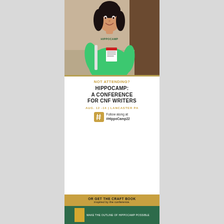[Figure (photo): Woman wearing a green HippoCamp t-shirt and conference badge, smiling, with dark curly hair, standing indoors.]
NOT ATTENDING?
HIPPOCAMP: A CONFERENCE FOR CNF WRITERS
AUG. 12 -14 | LANCASTER PA
Follow along at #HippoCamp22
OR GET THE CRAFT BOOK inspired by the conference.